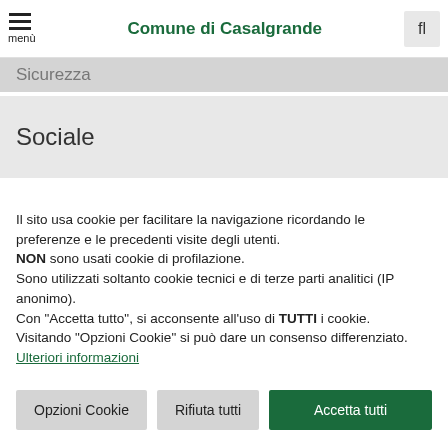Comune di Casalgrande
Sicurezza
Sociale
Il sito usa cookie per facilitare la navigazione ricordando le preferenze e le precedenti visite degli utenti.
NON sono usati cookie di profilazione.
Sono utilizzati soltanto cookie tecnici e di terze parti analitici (IP anonimo).
Con "Accetta tutto", si acconsente all'uso di TUTTI i cookie.
Visitando "Opzioni Cookie" si può dare un consenso differenziato.
Ulteriori informazioni
Opzioni Cookie | Rifiuta tutti | Accetta tutti